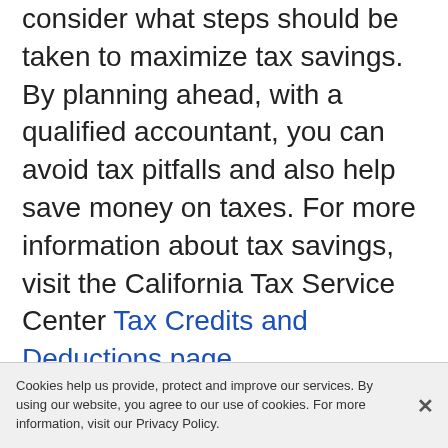consider what steps should be taken to maximize tax savings. By planning ahead, with a qualified accountant, you can avoid tax pitfalls and also help save money on taxes. For more information about tax savings, visit the California Tax Service Center Tax Credits and Deductions page.
If you will be hiring employees, be sure to visit this California page about paydays, pay periods, and the final wages. Also be sure to register with the California Employment and Development Division (EDD). The EDD handles California...
Cookies help us provide, protect and improve our services. By using our website, you agree to our use of cookies. For more information, visit our Privacy Policy.